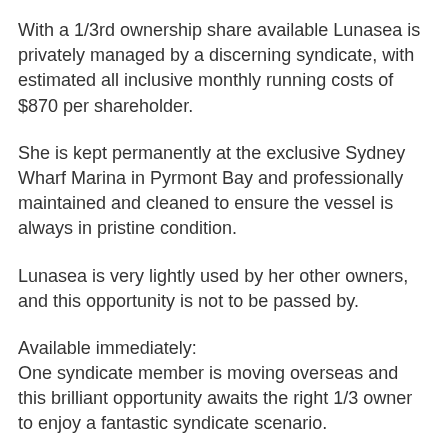With a 1/3rd ownership share available Lunasea is privately managed by a discerning syndicate, with estimated all inclusive monthly running costs of $870 per shareholder.
She is kept permanently at the exclusive Sydney Wharf Marina in Pyrmont Bay and professionally maintained and cleaned to ensure the vessel is always in pristine condition.
Lunasea is very lightly used by her other owners, and this opportunity is not to be passed by.
Available immediately:
One syndicate member is moving overseas and this brilliant opportunity awaits the right 1/3 owner to enjoy a fantastic syndicate scenario.